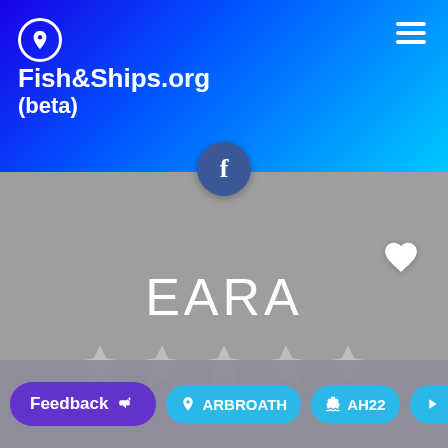Fish&Ships.org (beta)
EARA
[Figure (other): Five empty star rating icons displayed in a row on grey background]
Feedback
ARBROATH
AH22
7m